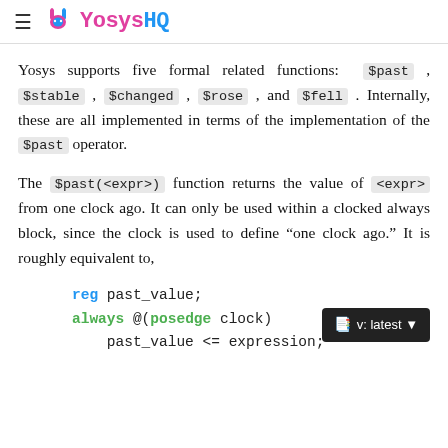YosysHQ
Yosys supports five formal related functions: $past , $stable , $changed , $rose , and $fell . Internally, these are all implemented in terms of the implementation of the $past operator.
The $past(<expr>) function returns the value of <expr> from one clock ago. It can only be used within a clocked always block, since the clock is used to define “one clock ago.” It is roughly equivalent to,
reg past_value;
always @(posedge clock)
    past_value <= expression;